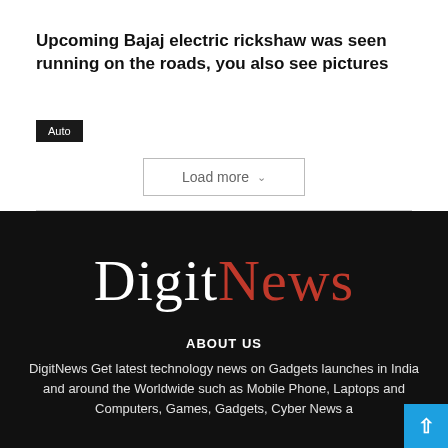Upcoming Bajaj electric rickshaw was seen running on the roads, you also see pictures
Auto
Load more
[Figure (logo): DigitNews logo with 'Digit' in white serif font and 'News' in red serif font on black background]
ABOUT US
DigitNews Get latest technology news on Gadgets launches in India and around the Worldwide such as Mobile Phone, Laptops and Computers, Games, Gadgets, Cyber News a